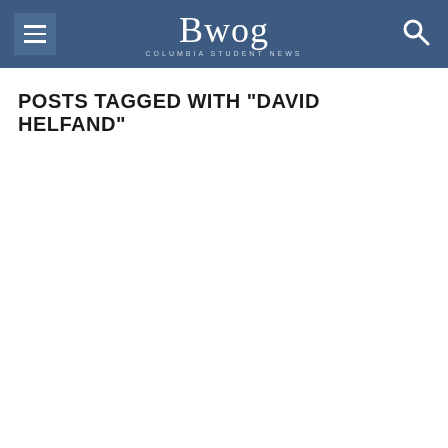Bwog — Columbia Student News
POSTS TAGGED WITH "DAVID HELFAND"